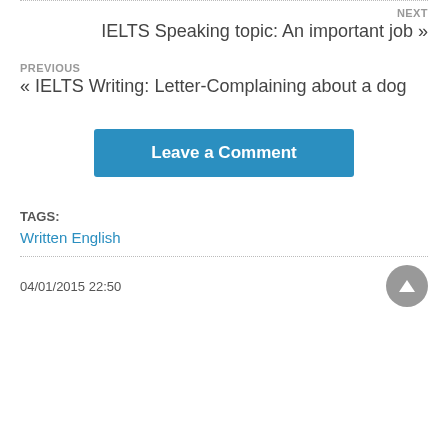NEXT
IELTS Speaking topic: An important job »
PREVIOUS
« IELTS Writing: Letter-Complaining about a dog
Leave a Comment
TAGS:
Written English
04/01/2015 22:50